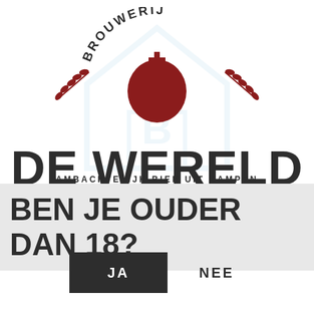[Figure (logo): Brouwerij De Wereld brewery logo with text BROUWERIJ arched above a red round bottle/bomb shape with a cross on top, flanked by red wheat/barley sprigs on each side. Faint house/building watermark in background.]
DE WERELD
AMBACHTELIJK BIER UIT KAMPEN
BEN JE OUDER DAN 18?
JA
NEE